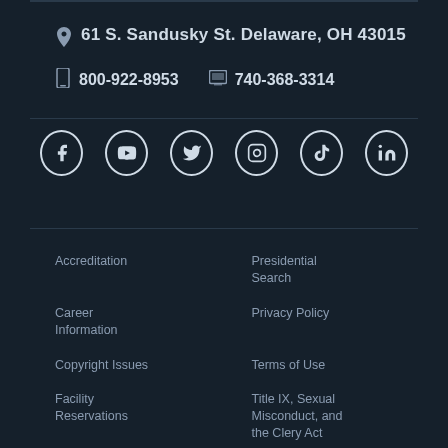61 S. Sandusky St. Delaware, OH 43015
800-922-8953   740-368-3314
[Figure (other): Social media icons row: Facebook, YouTube, Twitter, Instagram, TikTok, LinkedIn]
Accreditation
Presidential Search
Career Information
Privacy Policy
Copyright Issues
Terms of Use
Facility Reservations
Title IX, Sexual Misconduct, and the Clery Act
Offices & Services
Website Feedback
Pay Your Bill